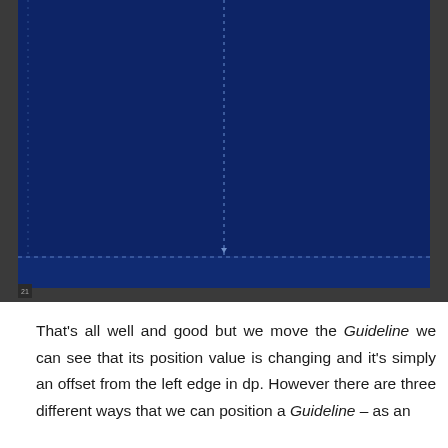[Figure (screenshot): Screenshot of a design/layout application showing a dark navy blue canvas with two crossing guideline lines: a vertical dashed line and a horizontal dashed line forming a cross, set against a dark blue background with a thin toolbar visible at the bottom.]
That's all well and good but we move the Guideline we can see that its position value is changing and it's simply an offset from the left edge in dp. However there are three different ways that we can position a Guideline – as an